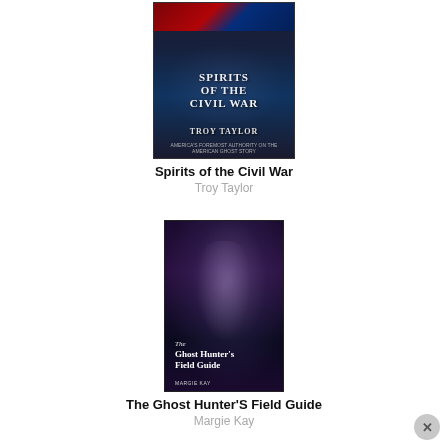[Figure (illustration): Book cover of 'Spirits of the Civil War' by Troy Taylor. Dark blue background with Civil War flag imagery and stylized text.]
Spirits of the Civil War
Troy Taylor
[Figure (illustration): Book cover of 'The Ghost Hunter's Field Guide' by Margie Kay. Dark purple background with ghostly female figure.]
The Ghost Hunter'S Field Guide
Margie Kay